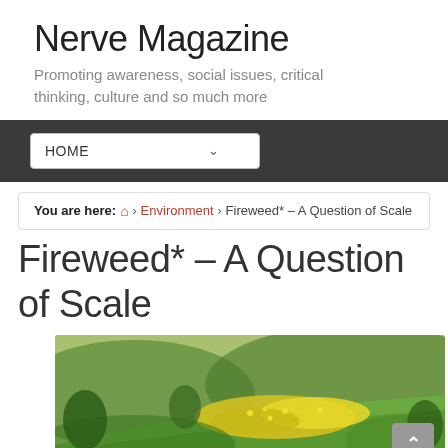Nerve Magazine
Promoting awareness, social issues, critical thinking, culture and so much more
HOME
You are here: 🏠 > Environment > Fireweed* – A Question of Scale
Fireweed* – A Question of Scale
[Figure (photo): Outdoor hillside scene with yellow wildflowers and green grass on a slope, natural landscape photograph]